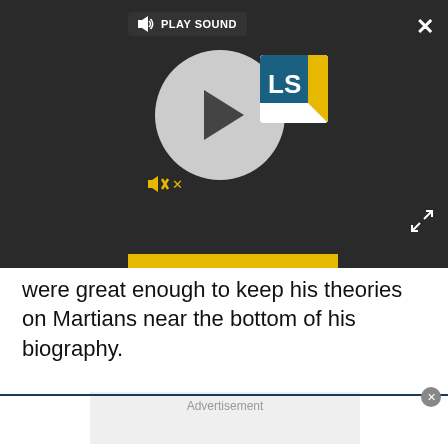[Figure (screenshot): A video player UI with dark background, play button circle, PLAY SOUND label, LS logo, mute icon, yellow progress bar, close X button, and expand arrows icon.]
were great enough to keep his theories on Martians near the bottom of his biography.
[Figure (other): Advertisement placeholder box with gray background and the word 'Advertisement' at the top center.]